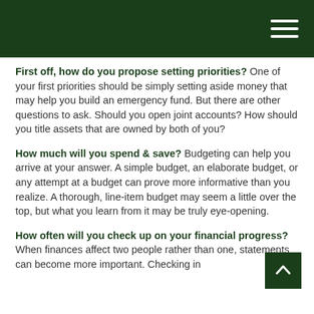First off, how do you propose setting priorities? One of your first priorities should be simply setting aside money that may help you build an emergency fund. But there are other questions to ask. Should you open joint accounts? How should you title assets that are owned by both of you?
How much will you spend & save? Budgeting can help you arrive at your answer. A simple budget, an elaborate budget, or any attempt at a budget can prove more informative than you realize. A thorough, line-item budget may seem a little over the top, but what you learn from it may be truly eye-opening.
How often will you check up on your financial progress? When finances affect two people rather than one, statements can become more important. Checking in